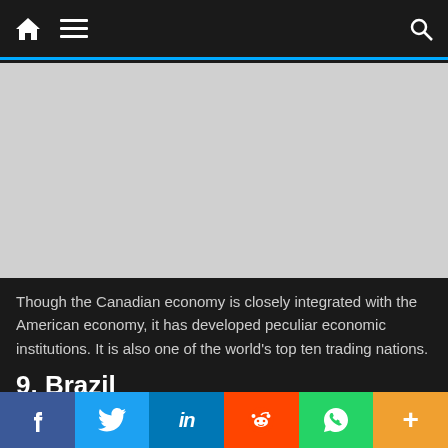Navigation bar with home, menu, and search icons
[Figure (other): Advertisement placeholder area (gray box)]
Though the Canadian economy is closely integrated with the American economy, it has developed peculiar economic institutions. It is also one of the world’s top ten trading nations.
9. Brazil
Brazil is the largest economy in Latin America with a GDP
Social share bar: Facebook, Twitter, LinkedIn, Reddit, WhatsApp, More